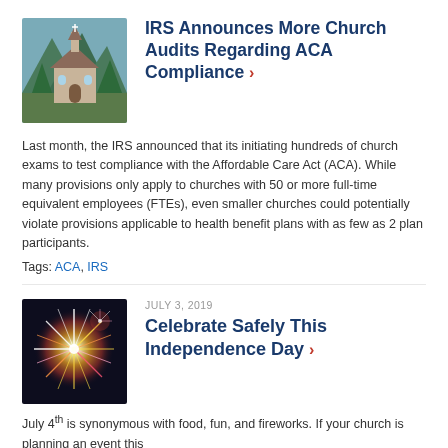[Figure (photo): Church surrounded by trees and mountains]
IRS Announces More Church Audits Regarding ACA Compliance
Last month, the IRS announced that its initiating hundreds of church exams to test compliance with the Affordable Care Act (ACA). While many provisions only apply to churches with 50 or more full-time equivalent employees (FTEs), even smaller churches could potentially violate provisions applicable to health benefit plans with as few as 2 plan participants.
Tags: ACA, IRS
JULY 3, 2019
[Figure (photo): Fireworks explosion against dark sky]
Celebrate Safely This Independence Day
July 4th is synonymous with food, fun, and fireworks. If your church is planning an event this